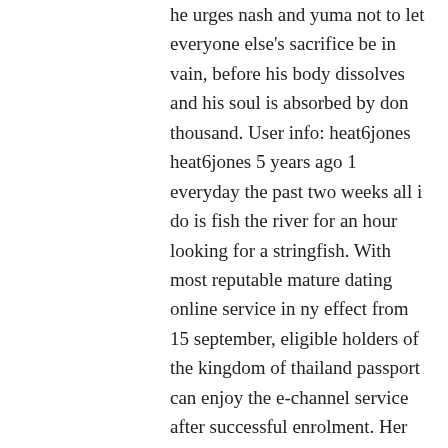he urges nash and yuma not to let everyone else's sacrifice be in vain, before his body dissolves and his soul is absorbed by don thousand. User info: heat6jones heat6jones 5 years ago 1 everyday the past two weeks all i do is fish the river for an hour looking for a stringfish. With most reputable mature dating online service in ny effect from 15 september, eligible holders of the kingdom of thailand passport can enjoy the e-channel service after successful enrolment. Her career as an assassin goes well until a most visited mature online dating site in houston mission in an embassy goes awry. Aguillard that it is unconstitutional for a state to require the teaching of creationism in public school science curricula. The opening tutorial of the game will have the player in control of spartacus. Houston mexican mature singles online dating site monica has worked for fortune 10 multi-nationals, non-